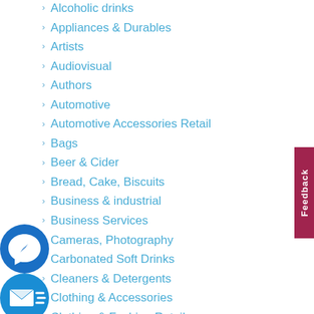Alcoholic drinks
Appliances & Durables
Artists
Audiovisual
Authors
Automotive
Automotive Accessories Retail
Bags
Beer & Cider
Bread, Cake, Biscuits
Business & industrial
Business Services
Cameras, Photography
Carbonated Soft Drinks
Cleaners & Detergents
Clothing & Accessories
Clothing & Fashion Retail
ComicReply Contests
[Figure (logo): Facebook Messenger chat icon - blue circle with white lightning bolt messenger symbol]
[Figure (logo): Email icon - blue circle with white envelope and motion lines]